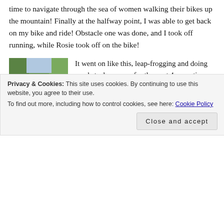time to navigate through the sea of women walking their bikes up the mountain!  Finally at the halfway point, I was able to get back on my bike and ride!  Obstacle one was done, and I took off running, while Rosie took off on the bike!
[Figure (photo): Two women posing together outdoors, appearing muddy, smiling at the camera. Trees and parked cars visible in the background.]
It went on like this, leap-frogging and doing an obstacle course, for the next 4 more times.  I love the bike ride for my second biking leg as it's ALL downhill and it's an exhillarating ride down, all the time screaming for the
Privacy & Cookies: This site uses cookies. By continuing to use this website, you agree to their use.
To find out more, including how to control cookies, see here: Cookie Policy
Close and accept